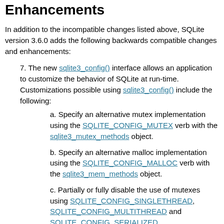Enhancements
In addition to the incompatible changes listed above, SQLite version 3.6.0 adds the following backwards compatible changes and enhancements:
7. The new sqlite3_config() interface allows an application to customize the behavior of SQLite at run-time. Customizations possible using sqlite3_config() include the following:
a. Specify an alternative mutex implementation using the SQLITE_CONFIG_MUTEX verb with the sqlite3_mutex_methods object.
b. Specify an alternative malloc implementation using the SQLITE_CONFIG_MALLOC verb with the sqlite3_mem_methods object.
c. Partially or fully disable the use of mutexes using SQLITE_CONFIG_SINGLETHREAD, SQLITE_CONFIG_MULTITHREAD and SQLITE_CONFIG_SERIALIZED.
8. A new flag SQLITE_OPEN_NOMUTEX is made...